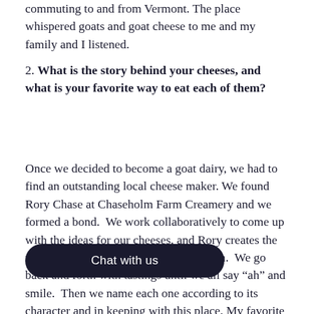commuting to and from Vermont. The place whispered goats and goat cheese to me and my family and I listened.
2. What is the story behind your cheeses, and what is your favorite way to eat each of them?
Once we decided to become a goat dairy, we had to find an outstanding local cheese maker. We found Rory Chase at Chaseholm Farm Creamery and we formed a bond. We work collaboratively to come up with the ideas for our cheeses, and Rory creates the recipes and conducts all experimentation. We go back and forth with tastings until we all say “ah” and smile. Then we name each one according to its character and in keeping with this place. My favorite way to eat each cheese is directly from the board to my mouth. Of course there are the Roe Jan O…rything Chevre (Chevrything?) on a P…, and the Simply Chevre crumbled over the Arugula we grow. Then there is the Peppercorn Chevre on top of our fresh tomatoes, and the Signal Rock on a